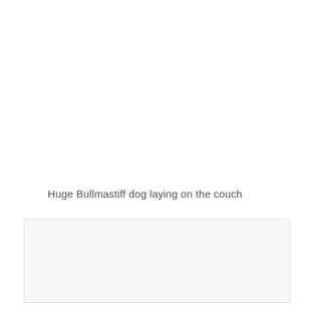Huge Bullmastiff dog laying on the couch
[Figure (photo): Empty image placeholder box with light gray background]